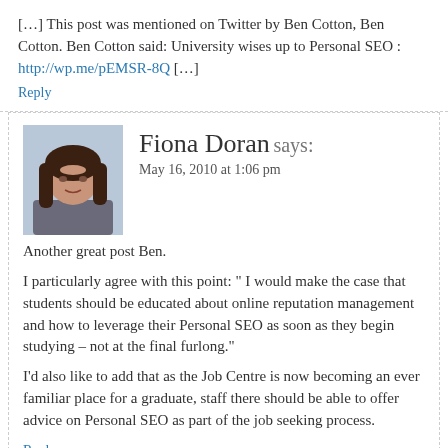[…] This post was mentioned on Twitter by Ben Cotton, Ben Cotton. Ben Cotton said: University wises up to Personal SEO : http://wp.me/pEMSR-8Q […]
Reply
[Figure (photo): Profile photo of Fiona Doran, a woman with long dark hair]
Fiona Doran says:
May 16, 2010 at 1:06 pm
Another great post Ben.
I particularly agree with this point: " I would make the case that students should be educated about online reputation management and how to leverage their Personal SEO as soon as they begin studying – not at the final furlong."
I'd also like to add that as the Job Centre is now becoming an ever familiar place for a graduate, staff there should be able to offer advice on Personal SEO as part of the job seeking process.
Reply